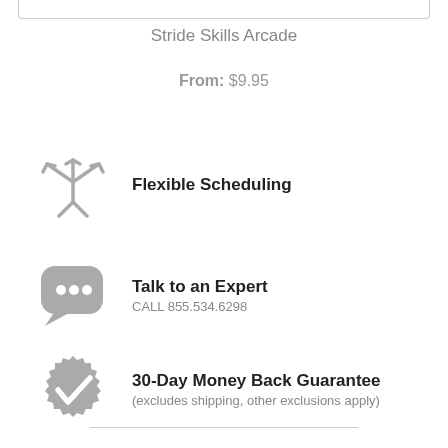Stride Skills Arcade
From: $9.95
Flexible Scheduling
Talk to an Expert
CALL 855.534.6298
30-Day Money Back Guarantee
(excludes shipping, other exclusions apply)